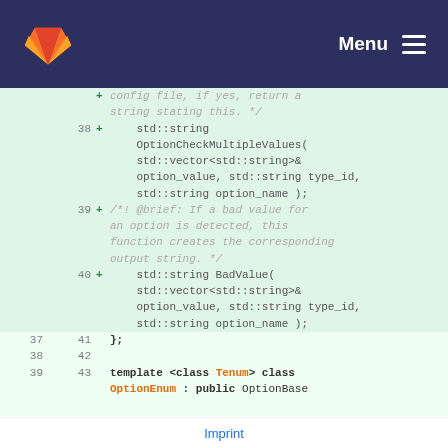Menu
config file, if yes, return a string stating this. */
38 + std::string OptionCheckMultipleValues( std::vector<std::string>& option_value, std::string type_id, std::string option_name );
39 + /*! @brief: If a bad value for an option is detected, this function creates the corresponding output string. */
40 + std::string BadValue( std::vector<std::string>& option_value, std::string type_id, std::string option_name );
37 41 };
38 42 
39 43 template <class Tenum> class OptionEnum : public OptionBase
Imprint